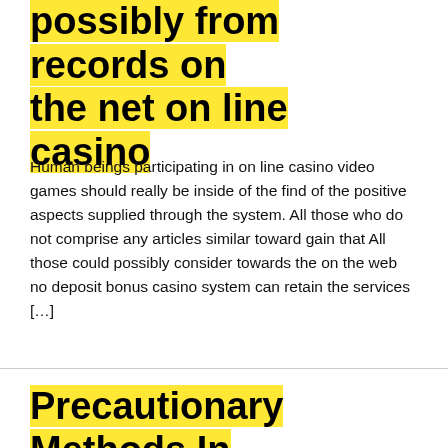possibly from records on the net on line casino
Human beings participating in on line casino video games should really be inside of the find of the positive aspects supplied through the system. All those who do not comprise any articles similar toward gain that All those could possibly consider towards the on the web no deposit bonus casino system can retain the services […]
Precautionary Methods In the direction of Reduce Injury Whilst Utilizing